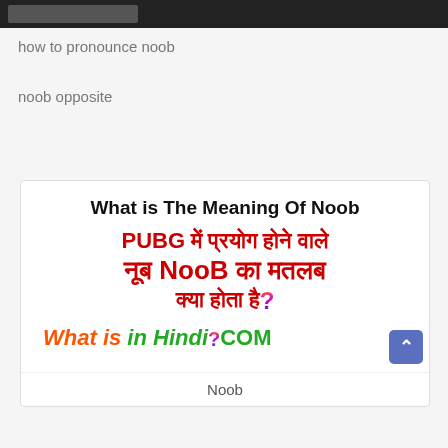[search bar / navigation bar]
how to pronounce noob
noob opposite
[Figure (screenshot): Thumbnail/article image from WhatisInHindi.com showing 'What is The Meaning Of Noob' in English and Hindi (PUBG mein prayog hone wale nub NooB ka matlab kya hota hai?) with brand name WhatisinHindi.COM in orange and green colors, and a colorful question mark]
Noob